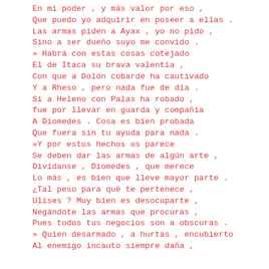En mi poder , y más valor por eso ,
Que puedo yo adquirir en poseer a ellas .
Las armas piden a Ayax , yo no pido ,
Sino a ser dueño suyo me convido .
» Habrá con estas cosas cotejado
El de Itaca su brava valentía ,
Con que a Dolón cobarde ha cautivado
Y a Rheso , pero nada fue de día .
Si a Heleno con Palas ha robado ,
fue por llevar en guarda y compañía
A Diomedes . Cosa es bien probada
Que fuera sin tu ayuda para nada .
»Y por estos hechos os parece
Se deben dar las armas de algún arte ,
Divídanse , Diomedes , que merece
Lo más , es bien que lleve mayor parte .
¿Tal peso para qué te pertenece ,
Ulises ? Muy bien es desocuparte ,
Negándote las armas que procuras ,
Pues todos tus negocios son a obscuras .
» Quien desarmado , a hurtas , encubierto
Al enemigo incauto siempre daña ,